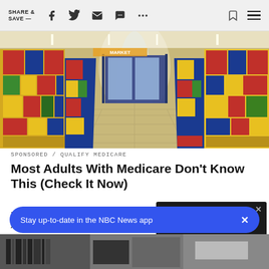SHARE & SAVE —
[Figure (photo): Supermarket aisle with colorful product shelves on both sides, tiled floor, perspective view toward back of store with refrigerators visible]
SPONSORED / QUALIFY MEDICARE
Most Adults With Medicare Don't Know This (Check It Now)
Up To $900' Grocery Benefit Americans W Applying For Today
[Figure (screenshot): Video player overlay with dark background and blue TAP TO UNMUTE button with speaker icon, X close button in top right]
Stay up-to-date in the NBC News app
[Figure (photo): Bottom strip partial photo, appears to be a checkout or merchandise display]